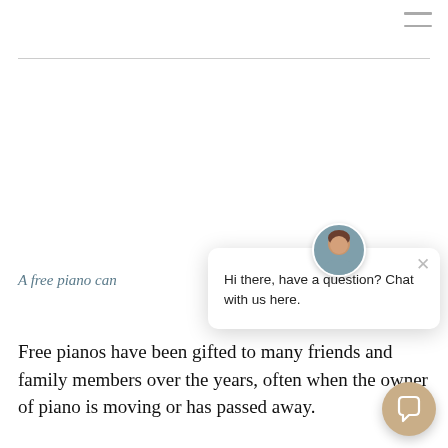[Figure (screenshot): Hamburger menu icon (three horizontal lines) in top-right corner of webpage]
A free piano can
[Figure (screenshot): Chat widget popup with avatar photo of a woman, close X button, and message: Hi there, have a question? Chat with us here.]
Free pianos have been gifted to many friends and family members over the years, often when the owner of piano is moving or has passed away.